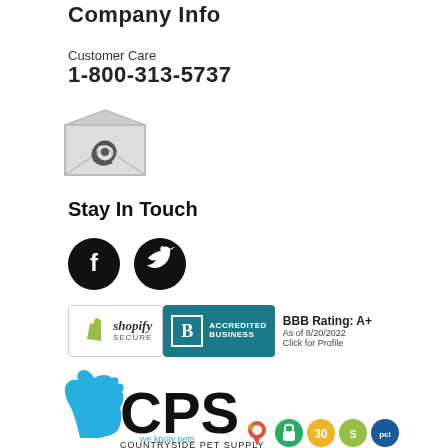Company Info
Customer Care
1-800-313-5737
[Figure (illustration): Email envelope icon with @ symbol]
Stay In Touch
[Figure (illustration): Facebook and Twitter social media icons (black circles with white logos)]
[Figure (illustration): Shopify Secure badge and BBB Accredited Business badge with BBB Rating A+ as of 8/20/2022 Click for Profile]
[Figure (logo): Countryside Pet Supply (CPS) logo with blue dog silhouette, CPS text, tagline 'we know pets', company name 'COUNTRYSIDE PET SUPPLY', and small trust badge icons including map pin, security lock, 30-day badge, Shopify badge, and PCI badge]